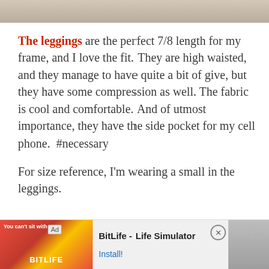[Figure (photo): Top portion of a photo showing a gravelly/stone ground surface with a shoe visible]
The leggings are the perfect 7/8 length for my frame, and I love the fit. They are high waisted, and they manage to have quite a bit of give, but they have some compression as well. The fabric is cool and comfortable. And of utmost importance, they have the side pocket for my cell phone.  #necessary

For size reference, I'm wearing a small in the leggings.
v-neck long sleeve tee / jacket / 7/8 tight
[Figure (screenshot): Advertisement banner for BitLife - Life Simulator app with red and yellow graphics]